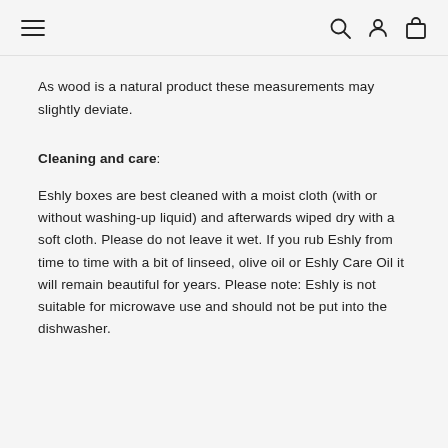Navigation header with menu, search, account, and cart icons
As wood is a natural product these measurements may slightly deviate.
Cleaning and care:
Eshly boxes are best cleaned with a moist cloth (with or without washing-up liquid) and afterwards wiped dry with a soft cloth. Please do not leave it wet. If you rub Eshly from time to time with a bit of linseed, olive oil or Eshly Care Oil it will remain beautiful for years. Please note: Eshly is not suitable for microwave use and should not be put into the dishwasher.